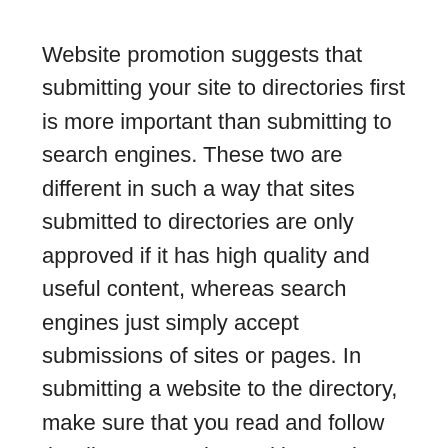Website promotion suggests that submitting your site to directories first is more important than submitting to search engines. These two are different in such a way that sites submitted to directories are only approved if it has high quality and useful content, whereas search engines just simply accept submissions of sites or pages. In submitting a website to the directory, make sure that you read and follow the directory's rules and instructions. Keep in mind that the editors will be very discerning of your web content.
Submitting to search engines definitely helps in website promotion but this takes quite a while, usually around 3-6 months. There are things to consider when submitting to search engines, you must prepare your website. Also, you will need to learn SEO or